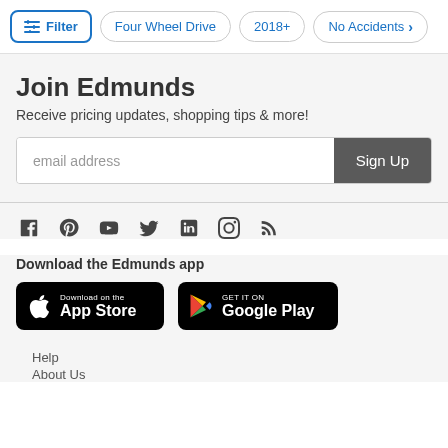Filter | Four Wheel Drive | 2018+ | No Accidents
Join Edmunds
Receive pricing updates, shopping tips & more!
email address [Sign Up]
[Figure (infographic): Social media icons: Facebook, Pinterest, YouTube, Twitter, LinkedIn, Instagram, RSS]
Download the Edmunds app
[Figure (screenshot): Download on the App Store badge (black, Apple logo)]
[Figure (screenshot): GET IT ON Google Play badge (black, Google Play triangle logo)]
Help
About Us